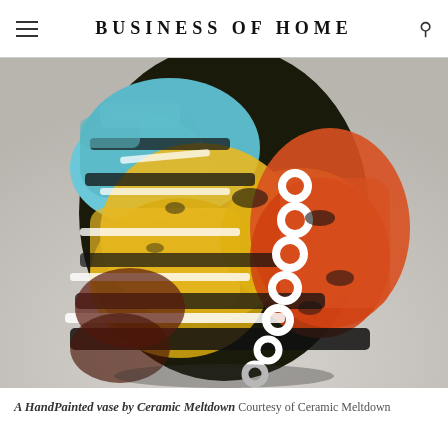BUSINESS OF HOME
[Figure (photo): A colorful hand-painted ceramic vase with abstract patterns including white circular rings, black stripes, and sections of yellow, orange, red, and teal/blue against a dark background, photographed on a light gray surface.]
A HandPainted vase by Ceramic Meltdown  Courtesy of Ceramic Meltdown